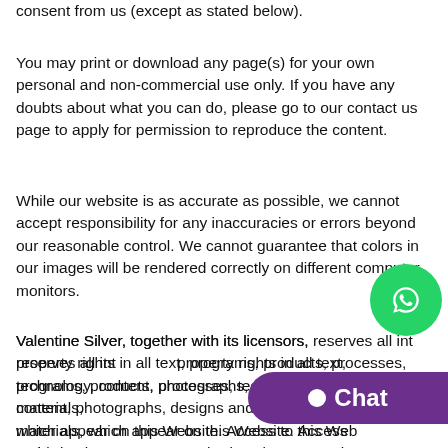consent from us (except as stated below).
You may print or download any page(s) for your own personal and non-commercial use only. If you have any doubts about what you can do, please go to our contact us page to apply for permission to reproduce the content.
While our website is as accurate as possible, we cannot accept responsibility for any inaccuracies or errors beyond our reasonable control. We cannot guarantee that colors in our images will be rendered correctly on different computer monitors.
Valentine Silver, together with its licensors, reserves all intellectual property rights in all text, programs, products, processes, technology, content, photographs, designs and other materials, which appear on this Website. Access to this Website does not authorize anyone to use any name, logo or mark materials, including images, text, illustrations, designs, icons,
[Figure (other): WhatsApp green circle button icon]
[Figure (other): Purple chat button with text 'Chat']